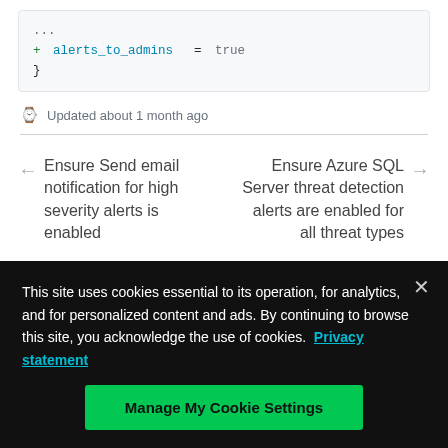...
+   alerts_to_admins   = true
}
Updated about 1 month ago
Ensure Send email notification for high severity alerts is enabled
Ensure Azure SQL Server threat detection alerts are enabled for all threat types
This site uses cookies essential to its operation, for analytics, and for personalized content and ads. By continuing to browse this site, you acknowledge the use of cookies. Privacy statement
Manage My Cookie Settings